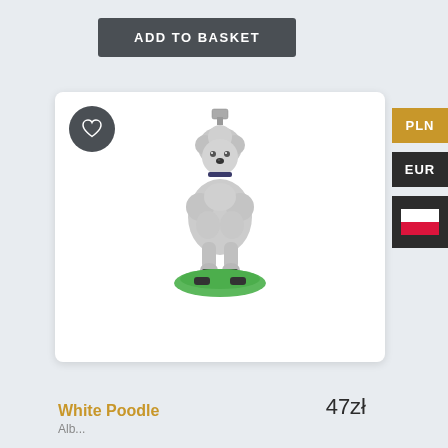ADD TO BASKET
[Figure (illustration): White/grey poodle dog Christmas ornament figurine sitting on a green base with a metal cap hanger on top]
PLN
EUR
[Figure (illustration): Polish flag icon (white and red horizontal stripes)]
White Poodle
47zł